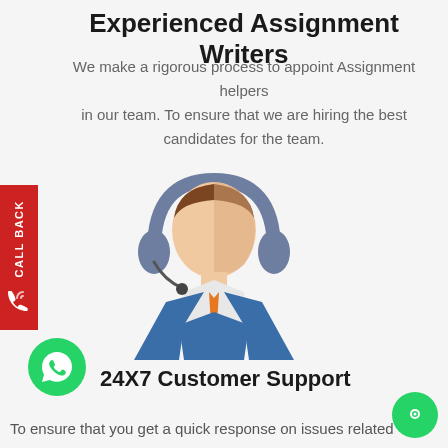Experienced Assignment Writers
We make a rigorous process to appoint Assignment helpers in our team. To ensure that we are hiring the best candidates for the team.
[Figure (illustration): Flat icon illustration of a customer support representative wearing a headset with microphone, dressed in a blue suit with orange tie, shown from the waist up against a light background.]
24X7 Customer Support
To ensure that you get a quick response on issues related